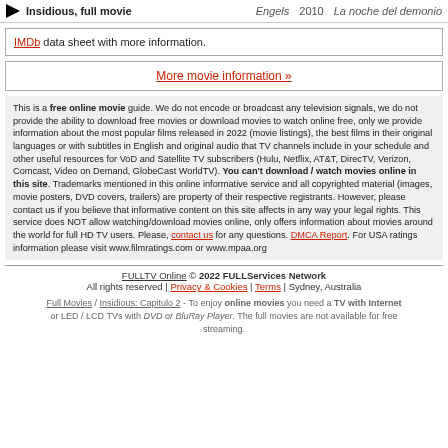Insidious, full movie | Engels | 2010 | La noche del demonio
IMDb data sheet with more information.
More movie information »
This is a free online movie guide. We do not encode or broadcast any television signals, we do not provide the ability to download free movies or download movies to watch online free, only we provide information about the most popular films released in 2022 (movie listings), the best films in their original languages or with subtitles in English and original audio that TV channels include in your schedule and other useful resources for VoD and Satellite TV subscribers (Hulu, Netflix, AT&T, DirecTV, Verizon, Comcast, Video on Demand, GlobeCast WorldTV). You can't download / watch movies online in this site. Trademarks mentioned in this online informative service and all copyrighted material (images, movie posters, DVD covers, trailers) are property of their respective registrants. However, please contact us if you believe that informative content on this site affects in any way your legal rights. This service does NOT allow watching/download movies online, only offers information about movies around the world for full HD TV users. Please, contact us for any questions. DMCA Report. For USA ratings information please visit www.filmratings.com or www.mpaa.org
FULLTV Online © 2022 FULLServices Network
All rights reserved | Privacy & Cookies | Terms | Sydney, Australia
Full Movies / Insidious: Capitulo 2 - To enjoy online movies you need a TV with Internet or LED / LCD TVs with DVD or BluRay Player. The full movies are not available for free streaming.